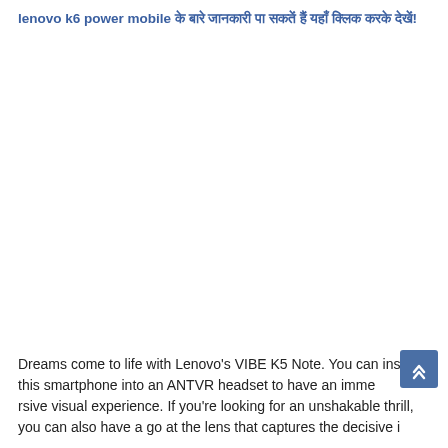lenovo k6 power mobile के बारे जानकारी पा सकतें हैं यहाँ क्लिक करके देखें!
Dreams come to life with Lenovo's VIBE K5 Note. You can insert this smartphone into an ANTVR headset to have an immersive visual experience. If you're looking for an unshakable thrill, you can also have a go at the lens that captures the decisive...